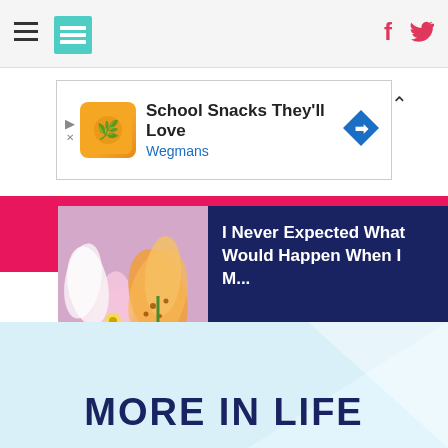HuffPost navigation bar with hamburger menu, logo, Facebook and Twitter icons
[Figure (screenshot): Wegmans advertisement banner: School Snacks They'll Love — Wegmans]
[Figure (photo): Close-up photo of pink, white, and orange lily flowers]
I Never Expected What Would Happen When I M...
MORE IN LIFE